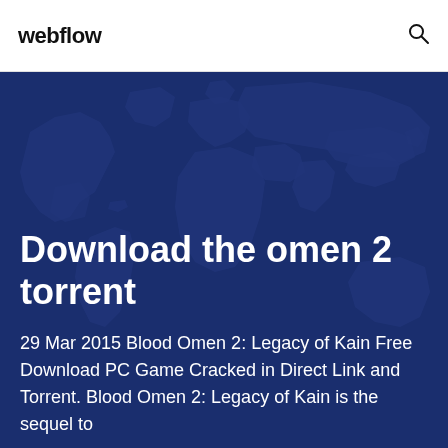webflow
Download the omen 2 torrent
29 Mar 2015 Blood Omen 2: Legacy of Kain Free Download PC Game Cracked in Direct Link and Torrent. Blood Omen 2: Legacy of Kain is the sequel to